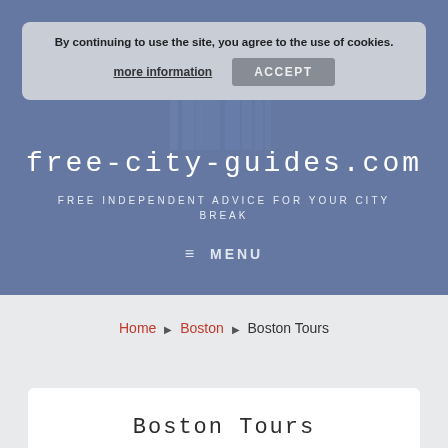By continuing to use the site, you agree to the use of cookies.
more information   ACCEPT
FREE-CITY-GUIDES.COM
FREE INDEPENDENT ADVICE FOR YOUR CITY BREAK
≡ MENU
Home ▶ Boston ▶ Boston Tours
Boston Tours